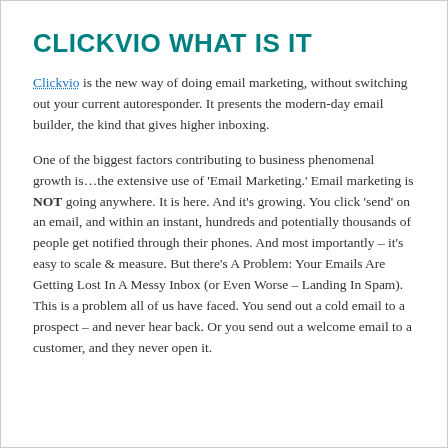CLICKVIO WHAT IS IT
Clickvio is the new way of doing email marketing, without switching out your current autoresponder. It presents the modern-day email builder, the kind that gives higher inboxing.
One of the biggest factors contributing to business phenomenal growth is…the extensive use of ‘Email Marketing.’ Email marketing is NOT going anywhere. It is here. And it’s growing. You click ‘send’ on an email, and within an instant, hundreds and potentially thousands of people get notified through their phones. And most importantly – it’s easy to scale & measure. But there’s A Problem: Your Emails Are Getting Lost In A Messy Inbox (or Even Worse – Landing In Spam). This is a problem all of us have faced. You send out a cold email to a prospect – and never hear back. Or you send out a welcome email to a customer, and they never open it.